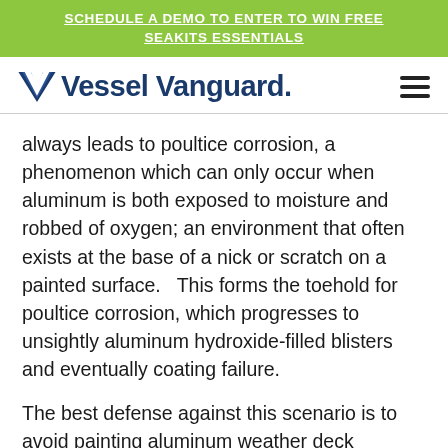SCHEDULE A DEMO TO ENTER TO WIN FREE SEAKITS ESSENTIALS
[Figure (logo): Vessel Vanguard logo with stylized V chevron mark and company name in dark navy blue]
always leads to poultice corrosion, a phenomenon which can only occur when aluminum is both exposed to moisture and robbed of oxygen; an environment that often exists at the base of a nick or scratch on a painted surface.   This forms the toehold for poultice corrosion, which progresses to unsightly aluminum hydroxide-filled blisters and eventually coating failure.
The best defense against this scenario is to avoid painting aluminum weather deck